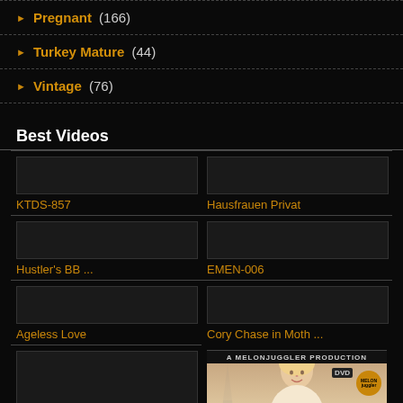Pregnant (166)
Turkey Mature (44)
Vintage (76)
Best Videos
KTDS-857
Hausfrauen Privat
Hustler's BB ...
EMEN-006
Ageless Love
Cory Chase in Moth ...
Old Fucks and Youn ...
[Figure (photo): DVD cover image showing A MELONJUGGLER PRODUCTION with a blonde woman and Eiffel Tower in background]